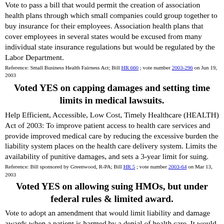Vote to pass a bill that would permit the creation of association health plans through which small companies could group together to buy insurance for their employees. Association health plans that cover employees in several states would be excused from many individual state insurance regulations but would be regulated by the Labor Department.
Reference: Small Business Health Fairness Act; Bill HR 660 ; vote number 2003-296 on Jun 19, 2003
Voted YES on capping damages and setting time limits in medical lawsuits.
Help Efficient, Accessible, Low Cost, Timely Healthcare (HEALTH) Act of 2003: To improve patient access to health care services and provide improved medical care by reducing the excessive burden the liability system places on the health care delivery system. Limits the availability of punitive damages, and sets a 3-year limit for suing.
Reference: Bill sponsored by Greenwood, R-PA; Bill HR 5 ; vote number 2003-64 on Mar 13, 2003
Voted YES on allowing suing HMOs, but under federal rules & limited award.
Vote to adopt an amendment that would limit liability and damage awards when a patient is harmed by a denial of health care. It would allow a patient to sue a health maintenance organization in state